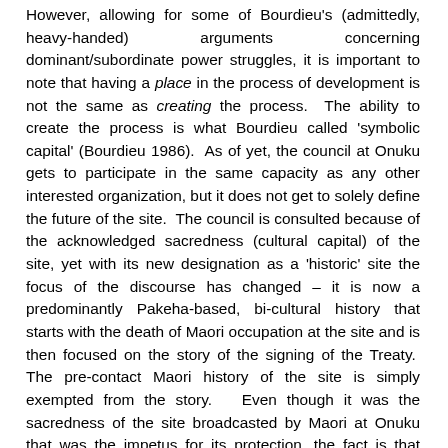However, allowing for some of Bourdieu's (admittedly, heavy-handed) arguments concerning dominant/subordinate power struggles, it is important to note that having a place in the process of development is not the same as creating the process. The ability to create the process is what Bourdieu called 'symbolic capital' (Bourdieu 1986). As of yet, the council at Onuku gets to participate in the same capacity as any other interested organization, but it does not get to solely define the future of the site. The council is consulted because of the acknowledged sacredness (cultural capital) of the site, yet with its new designation as a 'historic' site the focus of the discourse has changed – it is now a predominantly Pakeha-based, bi-cultural history that starts with the death of Maori occupation at the site and is then focused on the story of the signing of the Treaty. The pre-contact Maori history of the site is simply exempted from the story. Even though it was the sacredness of the site broadcasted by Maori at Onuku that was the impetus for its protection, the fact is that local Maori have already lost some control over the discourse concerning the site. So, while the runanga at Onuku has gained significant social and political capital throughout this process, it still lacks the necessary symbolic capital to steer the process, leaving the fate